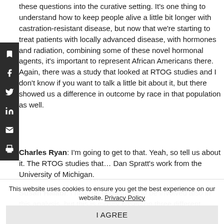these questions into the curative setting. It's one thing to understand how to keep people alive a little bit longer with castration-resistant disease, but now that we're starting to treat patients with locally advanced disease, with hormones and radiation, combining some of these novel hormonal agents, it's important to represent African Americans there. Again, there was a study that looked at RTOG studies and I don't know if you want to talk a little bit about it, but there showed us a difference in outcome by race in that population as well.
Charles Ryan: I'm going to get to that. Yeah, so tell us about it. The RTOG studies that... Dan Spratt's work from the University of Michigan.
Susan Halabi: I had the opportunity to be involved also in this analysis, but this is mostly based on three different
This website uses cookies to ensure you get the best experience on our website. Privacy Policy
I AGREE